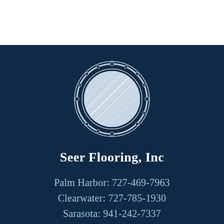[Figure (logo): Seer Flooring, Inc circular logo showing a porthole-style ring with bolt details surrounding a wood grain texture interior, rendered in white/silver on dark navy background]
Seer Flooring, Inc
Palm Harbor: 727-469-7963
Clearwater: 727-785-1930
Sarasota: 941-242-7337
[Figure (logo): Partially visible certified badge/seal at bottom, circular green and white design showing 'CERTIFIED' text arc]